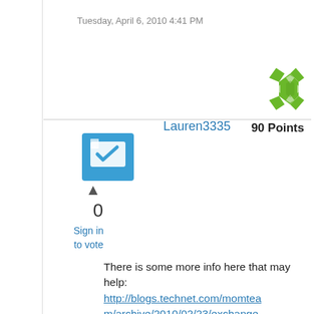Tuesday, April 6, 2010 4:41 PM
[Figure (illustration): Green star/cross badge icon representing user achievement points]
Lauren3335
90 Points
[Figure (illustration): Blue square answer/reply icon with checkmark]
0
Sign in to vote
There is some more info here that may help:
http://blogs.technet.com/momteam/archive/2010/02/23/exchange-2007-management-packs-do-not-